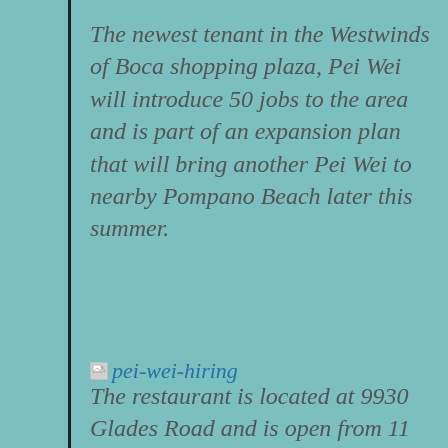The newest tenant in the Westwinds of Boca shopping plaza, Pei Wei will introduce 50 jobs to the area and is part of an expansion plan that will bring another Pei Wei to nearby Pompano Beach later this summer.
[Figure (other): Broken image placeholder with link text 'pei-wei-hiring']
The restaurant is located at 9930 Glades Road and is open from 11 a.m.-9:30 p.m. Sunday through Thursday and 11 a.m.-10...